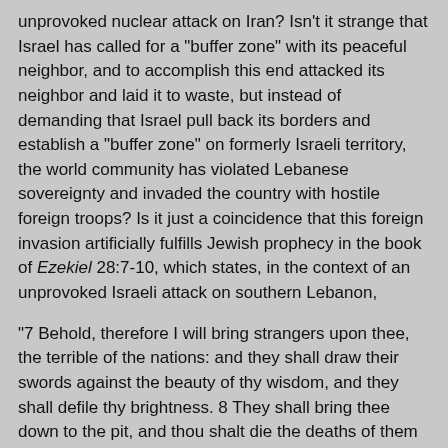unprovoked nuclear attack on Iran? Isn't it strange that Israel has called for a "buffer zone" with its peaceful neighbor, and to accomplish this end attacked its neighbor and laid it to waste, but instead of demanding that Israel pull back its borders and establish a "buffer zone" on formerly Israeli territory, the world community has violated Lebanese sovereignty and invaded the country with hostile foreign troops? Is it just a coincidence that this foreign invasion artificially fulfills Jewish prophecy in the book of Ezekiel 28:7-10, which states, in the context of an unprovoked Israeli attack on southern Lebanon,
"7 Behold, therefore I will bring strangers upon thee, the terrible of the nations: and they shall draw their swords against the beauty of thy wisdom, and they shall defile thy brightness. 8 They shall bring thee down to the pit, and thou shalt die the deaths of them that are slain in the midst of the seas. 9 Wilt thou yet say before him that slayeth thee, I am God? but thou shalt be a man, and no God, in the hand of him that slayeth thee. 10 Thou shalt die the deaths of the uncircumcised by the hand of strangers: for I have spoken it, saith the Lord GOD."